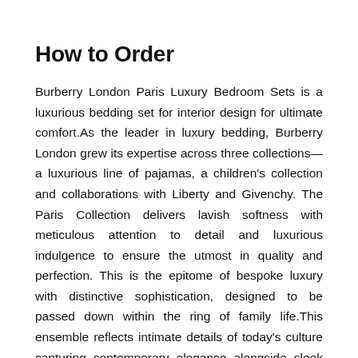How to Order
Burberry London Paris Luxury Bedroom Sets is a luxurious bedding set for interior design for ultimate comfort.As the leader in luxury bedding, Burberry London grew its expertise across three collections—a luxurious line of pajamas, a children's collection and collaborations with Liberty and Givenchy. The Paris Collection delivers lavish softness with meticulous attention to detail and luxurious indulgence to ensure the utmost in quality and perfection. This is the epitome of bespoke luxury with distinctive sophistication, designed to be passed down within the ring of family life.This ensemble reflects intimate details of today's culture capturing contemporary elegance alongside sleek traditionalism to fill any bedroom suite. Luxurious navy leather headboards appliqués border a crisp white cotton fabric ensembles while playful patterns mirror urban